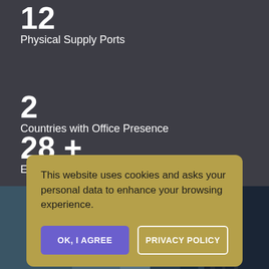12
Physical Supply Ports
2
Countries with Office Presence
28 +
Employees Worldwide
This website uses cookies and asks your personal data to enhance your browsing experience.
OK, I AGREE
PRIVACY POLICY
[Figure (photo): Industrial/maritime equipment photo visible at bottom of page]